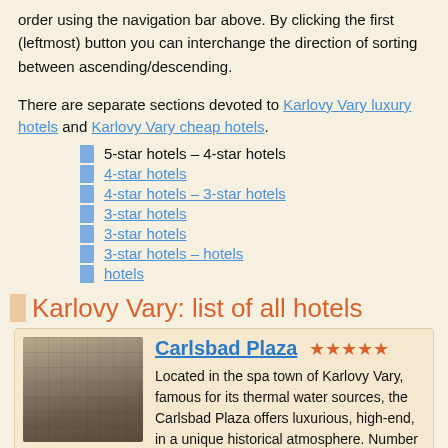order using the navigation bar above. By clicking the first (leftmost) button you can interchange the direction of sorting between ascending/descending.
There are separate sections devoted to Karlovy Vary luxury hotels and Karlovy Vary cheap hotels.
5-star hotels – 4-star hotels
4-star hotels
4-star hotels – 3-star hotels
3-star hotels
3-star hotels
3-star hotels – hotels
hotels
Karlovy Vary: list of all hotels
Carlsbad Plaza ***** Located in the spa town of Karlovy Vary, famous for its thermal water sources, the Carlsbad Plaza offers luxurious, high-end, in a unique historical atmosphere. Number of rooms: 152.